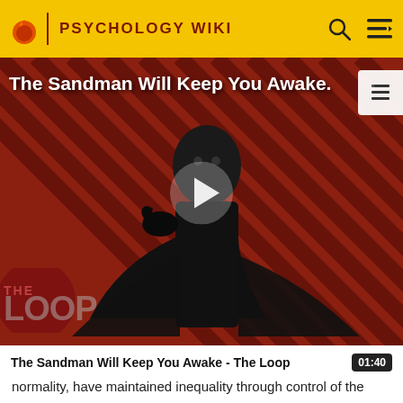PSYCHOLOGY WIKI
[Figure (screenshot): Video thumbnail for 'The Sandman Will Keep You Awake - The Loop' showing a figure in black against a red and black diagonal striped background with THE LOOP logo overlay and a play button in the center]
The Sandman Will Keep You Awake - The Loop
normality, have maintained inequality through control of the definition of deviance and of the institutions of social control. Women have been defined as different from men